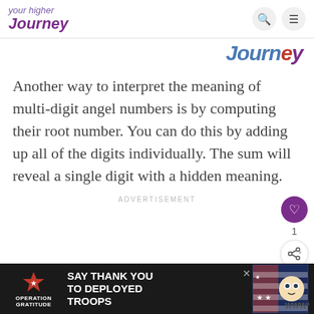your higher Journey
[Figure (logo): Journey watermark text in blue/red/purple italic font in upper right area]
Another way to interpret the meaning of multi-digit angel numbers is by computing their root number. You can do this by adding up all of the digits individually. The sum will reveal a single digit with a hidden meaning.
ADVERTISEMENT
[Figure (infographic): Bottom advertisement banner: Operation Gratitude - SAY THANK YOU TO DEPLOYED TROOPS with patriotic imagery]